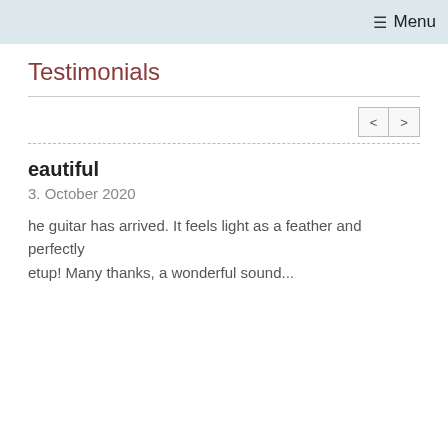☰ Menu
Testimonials
eautiful   C
3. October 2020   29
he guitar has arrived. It feels light as a feather and perfectly   T
etup! Many thanks, a wonderful sound...   T